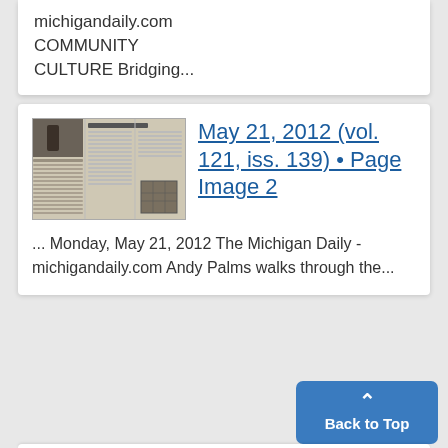michigandaily.com COMMUNITY CULTURE Bridging...
[Figure (photo): Thumbnail image of a Michigan Daily newspaper page spread]
May 21, 2012 (vol. 121, iss. 139) • Page Image 2
... Monday, May 21, 2012 The Michigan Daily - michigandaily.com Andy Palms walks through the...
Back to Top